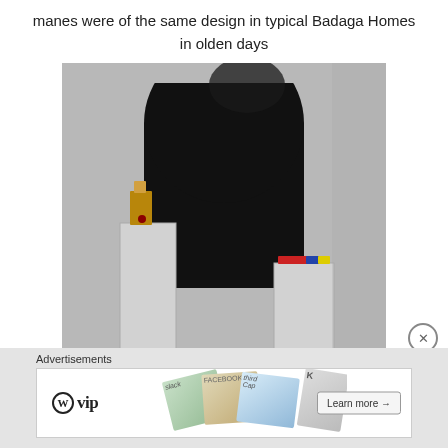manes were of the same design in typical Badaga Homes in olden days
[Figure (photo): Photo of a white-walled arched niche or doorway in a traditional Badaga home, with dark interior, smoke marks at the top of the arch, and small devotional items placed on white plastered pedestals on either side.]
Advertisements
[Figure (screenshot): Advertisement banner showing WordPress VIP logo on the left, colorful overlapping cards in the center, and a 'Learn more →' button on the right.]